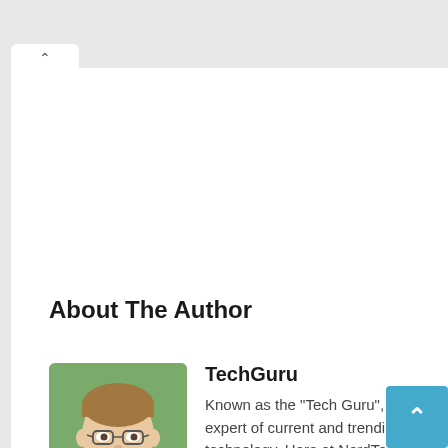About The Author
[Figure (photo): Headshot photo of a young man with glasses and light brown hair, smiling, with a blurred outdoor background.]
TechGuru
Known as the "Tech Guru", he's an expert of current and trending technology. Here at NordTechy, he